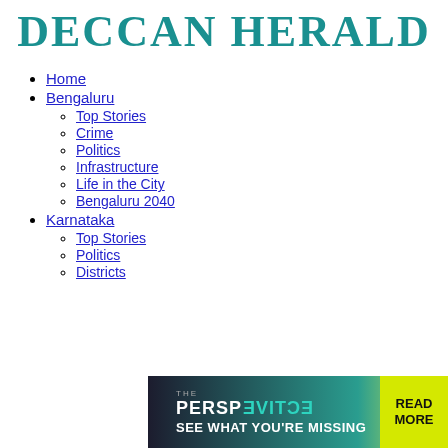[Figure (logo): Deccan Herald newspaper logo in teal/dark cyan serif bold font]
Home
Bengaluru
Top Stories
Crime
Politics
Infrastructure
Life in the City
Bengaluru 2040
Karnataka
Top Stories
Politics
Districts
[Figure (infographic): Advertisement banner: THE PERSPECTIVE - SEE WHAT YOU'RE MISSING - READ MORE]